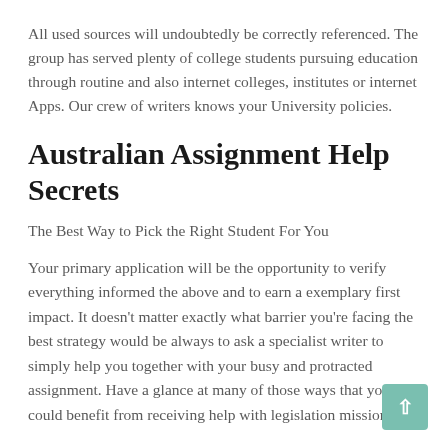All used sources will undoubtedly be correctly referenced. The group has served plenty of college students pursuing education through routine and also internet colleges, institutes or internet Apps. Our crew of writers knows your University policies.
Australian Assignment Help Secrets
The Best Way to Pick the Right Student For You
Your primary application will be the opportunity to verify everything informed the above and to earn a exemplary first impact. It doesn't matter exactly what barrier you're facing the best strategy would be always to ask a specialist writer to simply help you together with your busy and protracted assignment. Have a glance at many of those ways that you could benefit from receiving help with legislation mission.